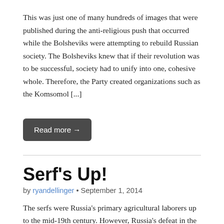This was just one of many hundreds of images that were published during the anti-religious push that occurred while the Bolsheviks were attempting to rebuild Russian society. The Bolsheviks knew that if their revolution was to be successful, society had to unify into one, cohesive whole.  Therefore, the Party created organizations such as the Komsomol [...]
Read more →
Serf's Up!
by ryandellinger • September 1, 2014
The serfs were Russia's primary agricultural laborers up to the mid-19th century.  However, Russia's defeat in the Crimean War brought to light the need for societal reform, and the issue of serfs was a hotbed of political debate.  The reformists wanted serfs to be liberated (although to what extent was also